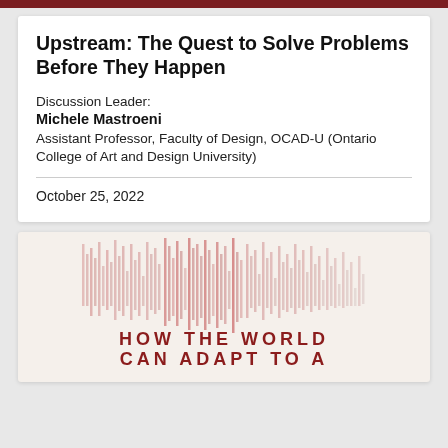Upstream: The Quest to Solve Problems Before They Happen
Discussion Leader:
Michele Mastroeni
Assistant Professor, Faculty of Design, OCAD-U (Ontario College of Art and Design University)
October 25, 2022
[Figure (illustration): Book cover illustration showing vertical lines of varying heights suggesting a barcode or abstract landscape, with text 'HOW THE WORLD CAN ADAPT TO A' in dark red capital letters on a light beige background]